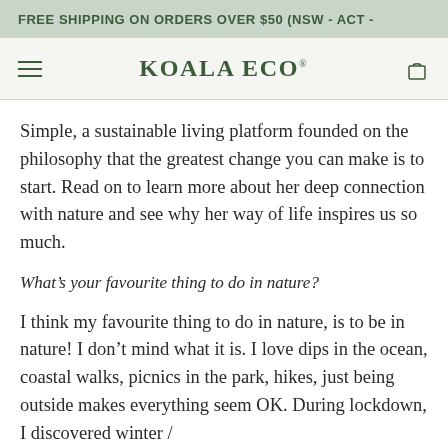FREE SHIPPING ON ORDERS OVER $50 (NSW - ACT -
KOALA ECO
Simple, a sustainable living platform founded on the philosophy that the greatest change you can make is to start. Read on to learn more about her deep connection with nature and see why her way of life inspires us so much.
What’s your favourite thing to do in nature?
I think my favourite thing to do in nature, is to be in nature! I don’t mind what it is. I love dips in the ocean, coastal walks, picnics in the park, hikes, just being outside makes everything seem OK. During lockdown, I discovered winter /